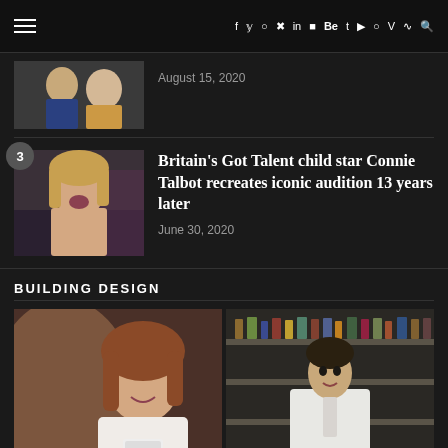Navigation bar with hamburger menu and social icons: f y Instagram Pinterest in Flickr Be t YouTube Snapchat V RSS Search
[Figure (photo): Partial article thumbnail showing two people, one with blonde hair]
August 15, 2020
[Figure (photo): Article 3 thumbnail showing a young blonde woman smiling]
Britain's Got Talent child star Connie Talbot recreates iconic audition 13 years later
June 30, 2020
BUILDING DESIGN
[Figure (photo): Photo of a young woman with reddish-brown hair smiling, holding something]
[Figure (photo): Photo of a man in a white suit sitting in front of shelves]